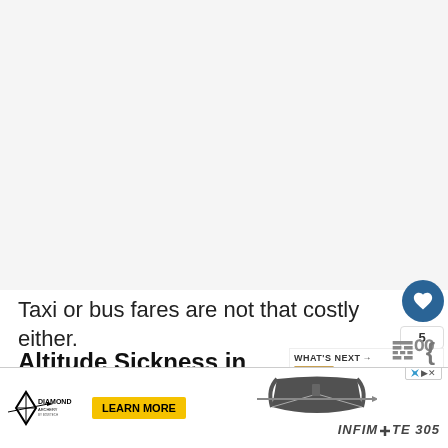[Figure (photo): Large light gray/white image area at the top of the page, mostly blank/washed out]
Taxi or bus fares are not that costly either.
Altitude Sickness in Bolivia is Re...
[Figure (photo): Thumbnail image of historic buildings/landscape for the 'What's Next' sidebar]
WHAT'S NEXT → 10 Historic and Beautifu...
On the last night of our Salar de Uyuni trip, five of us...
[Figure (other): Diamond Archery advertisement banner with Infinite 305 bow at the bottom of the page]